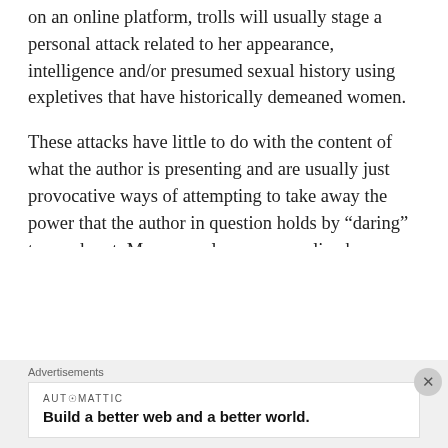on an online platform, trolls will usually stage a personal attack related to her appearance, intelligence and/or presumed sexual history using expletives that have historically demeaned women.
These attacks have little to do with the content of what the author is presenting and are usually just provocative ways of attempting to take away the power that the author in question holds by “daring” to speak out. Many popular women online have faced these types of threats, including women who do not occupy the traditional roles expected for them – examples include feminist critics of video games like Anita Sarkeesian, sex educator Laci Green and popular blogger Rebecca Watson. This is
Advertisements
AUTOMATTIC
Build a better web and a better world.